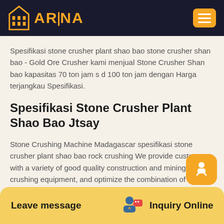ARINA
Spesifikasi stone crusher plant shao bao stone crusher shan bao - Gold Ore Crusher kami menjual Stone Crusher Shan bao kapasitas 70 ton jam s d 100 ton jam dengan Harga terjangkau Spesifikasi.
Spesifikasi Stone Crusher Plant Shao Bao Jtsay
Stone Crushing Machine Madagascar spesifikasi stone crusher plant shao bao rock crushing We provide customers with a variety of good quality construction and mining crushing equipment, and optimize the combination of various types of
Leave message   Inquiry Online